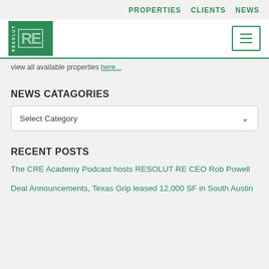PROPERTIES   CLIENTS   NEWS
[Figure (logo): RESOLUT RE green logo with white RE letters]
view all available properties here...
NEWS CATAGORIES
Select Category
RECENT POSTS
The CRE Academy Podcast hosts RESOLUT RE CEO Rob Powell
Deal Announcements, Texas Grip leased 12,000 SF in South Austin